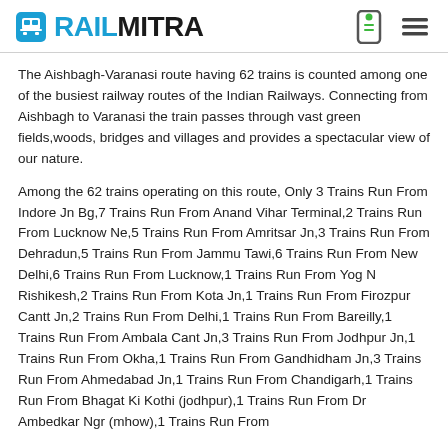RAILMITRA
The Aishbagh-Varanasi route having 62 trains is counted among one of the busiest railway routes of the Indian Railways. Connecting from Aishbagh to Varanasi the train passes through vast green fields,woods, bridges and villages and provides a spectacular view of our nature.
Among the 62 trains operating on this route, Only 3 Trains Run From Indore Jn Bg,7 Trains Run From Anand Vihar Terminal,2 Trains Run From Lucknow Ne,5 Trains Run From Amritsar Jn,3 Trains Run From Dehradun,5 Trains Run From Jammu Tawi,6 Trains Run From New Delhi,6 Trains Run From Lucknow,1 Trains Run From Yog N Rishikesh,2 Trains Run From Kota Jn,1 Trains Run From Firozpur Cantt Jn,2 Trains Run From Delhi,1 Trains Run From Bareilly,1 Trains Run From Ambala Cant Jn,3 Trains Run From Jodhpur Jn,1 Trains Run From Okha,1 Trains Run From Gandhidham Jn,3 Trains Run From Ahmedabad Jn,1 Trains Run From Chandigarh,1 Trains Run From Bhagat Ki Kothi (jodhpur),1 Trains Run From Dr Ambedkar Ngr (mhow),1 Trains Run From